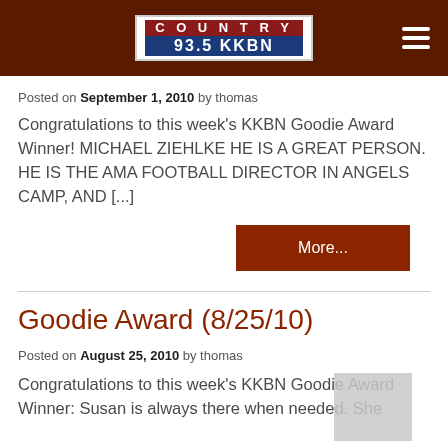COUNTRY 93.5 KKBN
Posted on September 1, 2010 by thomas
Congratulations to this week's KKBN Goodie Award Winner! MICHAEL ZIEHLKE HE IS A GREAT PERSON. HE IS THE AMA FOOTBALL DIRECTOR IN ANGELS CAMP, AND [...]
More...
Goodie Award (8/25/10)
Posted on August 25, 2010 by thomas
Congratulations to this week's KKBN Goodie Award Winner: Susan is always there when needed. She